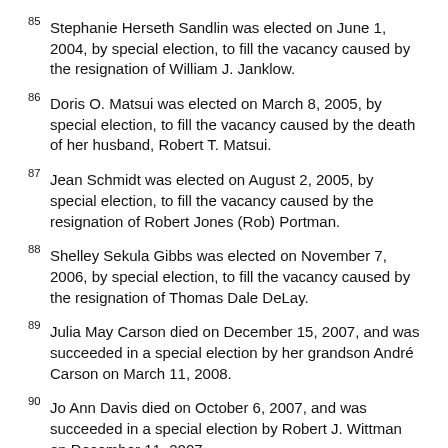85 Stephanie Herseth Sandlin was elected on June 1, 2004, by special election, to fill the vacancy caused by the resignation of William J. Janklow.
86 Doris O. Matsui was elected on March 8, 2005, by special election, to fill the vacancy caused by the death of her husband, Robert T. Matsui.
87 Jean Schmidt was elected on August 2, 2005, by special election, to fill the vacancy caused by the resignation of Robert Jones (Rob) Portman.
88 Shelley Sekula Gibbs was elected on November 7, 2006, by special election, to fill the vacancy caused by the resignation of Thomas Dale DeLay.
89 Julia May Carson died on December 15, 2007, and was succeeded in a special election by her grandson André Carson on March 11, 2008.
90 Jo Ann Davis died on October 6, 2007, and was succeeded in a special election by Robert J. Wittman on December 11, 2007.
91 Donna F. Edwards was elected on June 17, 2008, by special election, to fill the vacancy caused by the resignation of Albert Russell Wynn.
92 Marcia L. Fudge was elected on November 18, 2008, by special election, to